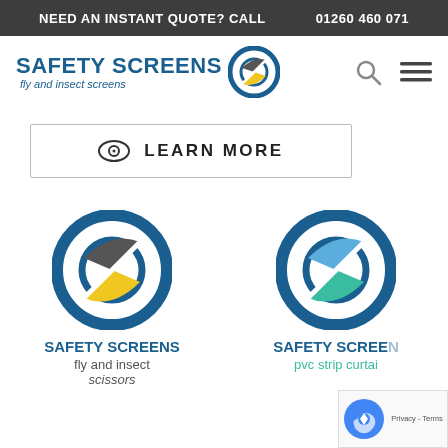NEED AN INSTANT QUOTE? CALL   01260 460 071
[Figure (logo): Safety Screens logo with circular icon, text 'SAFETY SCREENS fly and insect screens', search icon, and hamburger menu icon]
[Figure (other): Eye icon with 'LEARN MORE' button in a rectangle border]
[Figure (logo): Safety Screens fly and insect screens logo with yellow/grey circular icon]
[Figure (logo): Safety Screens pvc strip curtains logo with teal/blue circular icon]
SAFETY SCREENS
fly and insect
scissors
SAFETY SCREENS
pvc strip curtai...